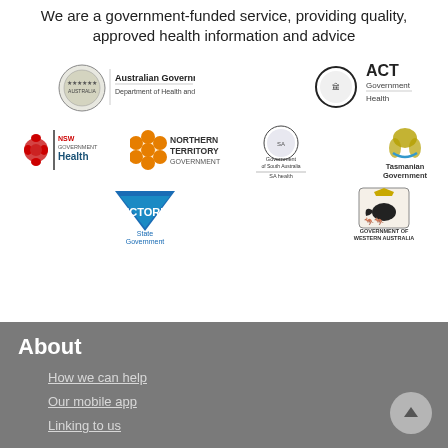We are a government-funded service, providing quality, approved health information and advice
[Figure (logo): Australian Government Department of Health and Aged Care logo]
[Figure (logo): ACT Government Health logo]
[Figure (logo): NSW Government Health logo]
[Figure (logo): Northern Territory Government logo]
[Figure (logo): Government of South Australia SA Health logo]
[Figure (logo): Tasmanian Government logo]
[Figure (logo): Victoria State Government logo]
[Figure (logo): Government of Western Australia logo]
About
How we can help
Our mobile app
Linking to us